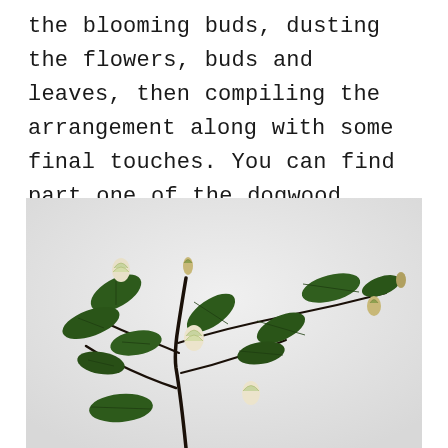the blooming buds, dusting the flowers, buds and leaves, then compiling the arrangement along with some final touches. You can find part one of the dogwood branch tutorial here.
[Figure (photo): A photograph of a dogwood branch with dark stems, dark green leaves with visible veining, and white/cream flower buds at various stages of opening, arranged artfully against a light grey background.]